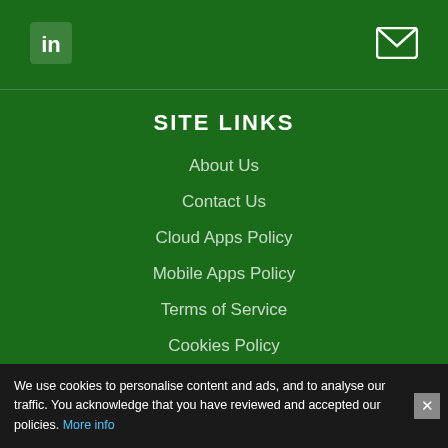[Figure (logo): LinkedIn icon (white 'in' logo on dark green square background)]
[Figure (logo): Email/envelope icon in white outline]
SITE LINKS
About Us
Contact Us
Cloud Apps Policy
Mobile Apps Policy
Terms of Service
Cookies Policy
We use cookies to personalise content and ads, and to analyse our traffic. You acknowledge that you have reviewed and accepted our policies. More info